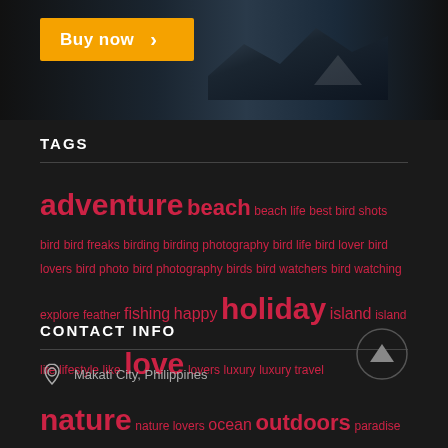[Figure (photo): Partial view of a mountain landscape photo with a 'Buy now' orange button with arrow on the left side]
TAGS
adventure beach beach life best bird shots bird bird freaks birding birding photography bird life bird lover bird lovers bird photo bird photography birds bird watchers bird watching explore feather fishing happy holiday island island life lifestyle like love lovers luxury luxury travel nature nature lovers ocean outdoors paradise photography planet birds river sea summer sunset travel vacation wanderlust wild wildlife
CONTACT INFO
Makati City, Philippines